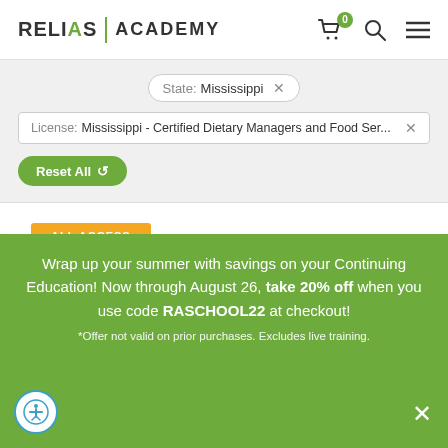[Figure (logo): Relias Academy logo with cart, search, and menu icons]
State: Mississippi ×
License: Mississippi - Certified Dietary Managers and Food Ser... ×
Reset All
ALL ACCESS
Academy All Access
What's All Access?
Wrap up your summer with savings on your Continuing Education! Now through August 26, take 20% off when you use code RASCHOOL22 at checkout!
*Offer not valid on prior purchases. Excludes live training.